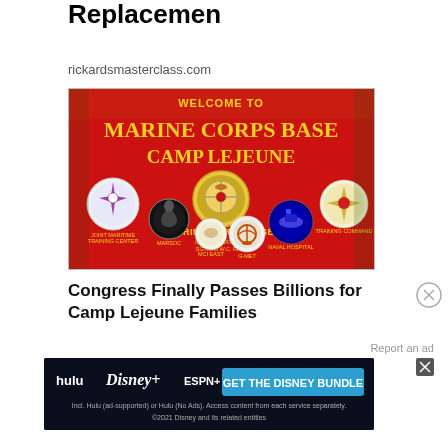Replacemen
rickardsmasterclass.com
[Figure (photo): Welcome to Marine Corps Base Camp Lejeune sign — red background with gold lettering and multiple unit insignia emblems]
Congress Finally Passes Billions for Camp Lejeune Families
Report an ad
[Figure (screenshot): Disney Bundle advertisement: hulu, Disney+, ESPN+ — GET THE DISNEY BUNDLE. Incl. Hulu (ad-supported) or Hulu (No Ads). Access content from each service separately. ©2021 Disney and its related entities]